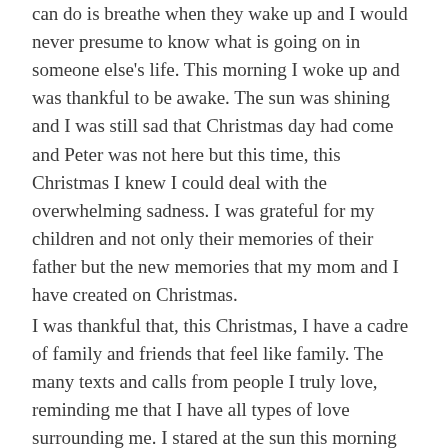can do is breathe when they wake up and I would never presume to know what is going on in someone else's life. This morning I woke up and was thankful to be awake. The sun was shining and I was still sad that Christmas day had come and Peter was not here but this time, this Christmas I knew I could deal with the overwhelming sadness. I was grateful for my children and not only their memories of their father but the new memories that my mom and I have created on Christmas.
I was thankful that, this Christmas, I have a cadre of family and friends that feel like family. The many texts and calls from people I truly love, reminding me that I have all types of love surrounding me. I stared at the sun this morning and was thankful that I could feel the warmth on my face. This Christmas, I am thankful that the many signs are leading me to completing my first book. But mostly I am thankful that I can now wake up and be one of those people that are now thankful that I woke up. And to those who are unable to be thankful for waking up